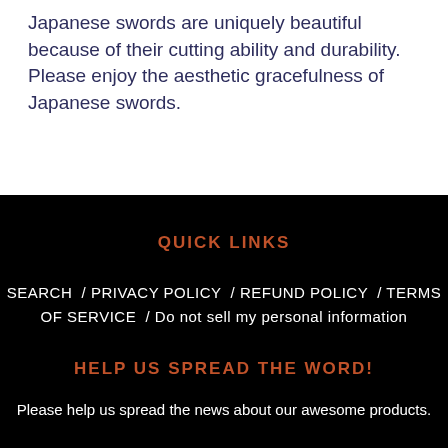Japanese swords are uniquely beautiful because of their cutting ability and durability. Please enjoy the aesthetic gracefulness of Japanese swords.
QUICK LINKS
SEARCH / PRIVACY POLICY / REFUND POLICY / TERMS OF SERVICE / Do not sell my personal information
HELP US SPREAD THE WORD!
Please help us spread the news about our awesome products.